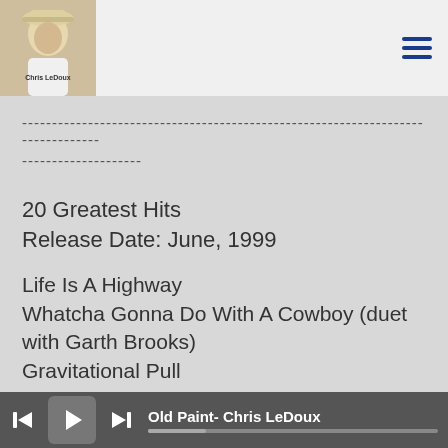[Figure (photo): Album cover photo of Chris LeDoux wearing a cowboy hat, with text 'Chris LeDoux' on the image]
--------------------------------------------------------------------------------
--------------------
20 Greatest Hits
Release Date: June, 1999
Life Is A Highway
Whatcha Gonna Do With A Cowboy (duet with Garth Brooks)
Gravitational Pull
Dallas Days And Fort Worth Nights
Old Paint- Chris LeDoux